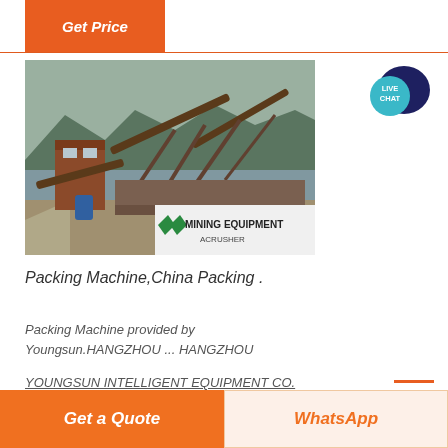Get Price
[Figure (photo): Industrial mining equipment / packing machine setup outdoors near a river with mountains in background. Conveyor belts and machinery visible. Watermark reads MINING EQUIPMENT ACRUSHER with green diagonal stripes logo.]
Packing Machine,China Packing .
Packing Machine provided by Youngsun.HANGZHOU ... HANGZHOU YOUNGSUN INTELLIGENT EQUIPMENT CO.
Get a Quote
WhatsApp